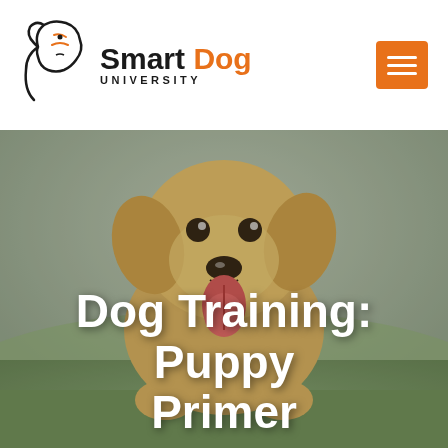[Figure (logo): Smart Dog University logo — black outline of dog head with orange accent lines, text 'Smart' in black and 'Dog' in orange, 'UNIVERSITY' in small caps below]
[Figure (photo): Golden retriever puppy sitting in a field, tongue out, looking at camera, background is grassy with overcast sky — hero banner image]
Dog Training: Puppy Primer